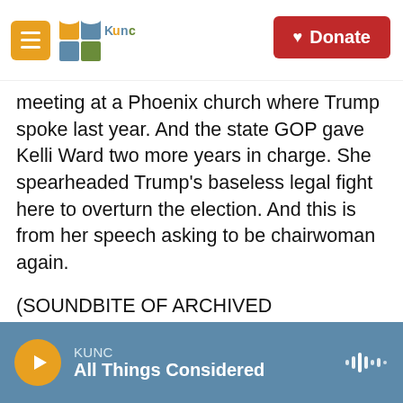KUNC logo and navigation header with Donate button
meeting at a Phoenix church where Trump spoke last year. And the state GOP gave Kelli Ward two more years in charge. She spearheaded Trump's baseless legal fight here to overturn the election. And this is from her speech asking to be chairwoman again.
(SOUNDBITE OF ARCHIVED RECORDING)
KELLI WARD: Are we going to reelect me and show the state, the country and the world that we are an America-first Arizona, or will we go back to the dark days before Trump?
KUNC All Things Considered